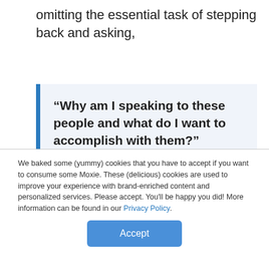omitting the essential task of stepping back and asking,
“Why am I speaking to these people and what do I want to accomplish with them?”
We baked some (yummy) cookies that you have to accept if you want to consume some Moxie. These (delicious) cookies are used to improve your experience with brand-enriched content and personalized services. Please accept. You'll be happy you did! More information can be found in our Privacy Policy.